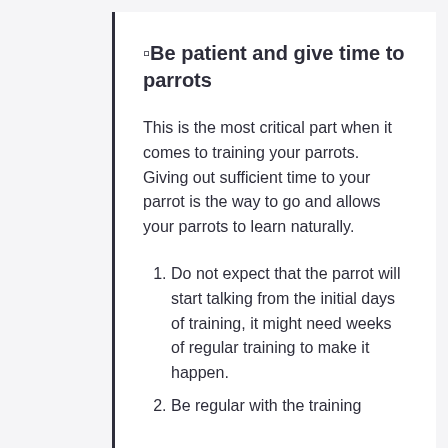🔲Be patient and give time to parrots
This is the most critical part when it comes to training your parrots. Giving out sufficient time to your parrot is the way to go and allows your parrots to learn naturally.
Do not expect that the parrot will start talking from the initial days of training, it might need weeks of regular training to make it happen.
Be regular with the training